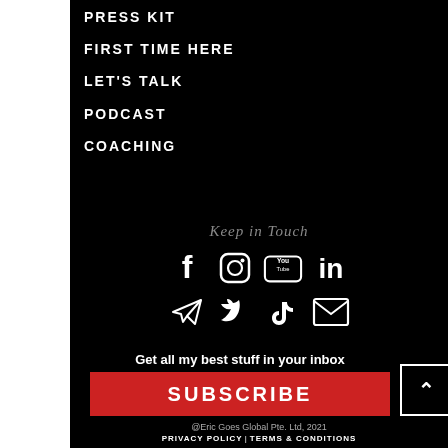PRESS KIT
FIRST TIME HERE
LET'S TALK
PODCAST
COACHING
Keep in Touch
[Figure (infographic): Row 1: Facebook, Instagram, YouTube, LinkedIn icons. Row 2: Telegram, Twitter, TikTok, Email icons — all white on black background.]
Get all my best stuff in your inbox
SUBSCRIBE
@Eric Goes Global Pte. Ltd, 2021 PRIVACY POLICY | TERMS & CONDITIONS